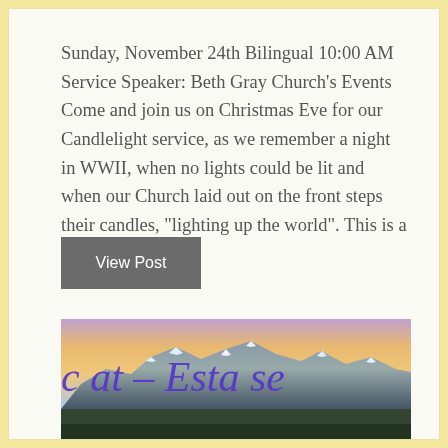Sunday, November 24th Bilingual 10:00 AM Service Speaker: Beth Gray Church's Events Come and join us on Christmas Eve for our Candlelight service, as we remember a night in WWII, when no lights could be lit and when our Church laid out on the front steps their candles, "lighting up the world". This is a night…
View Post
[Figure (photo): A mountain landscape at sunset/sunrise with snow-capped peaks and colorful sky, with handwritten purple text overlay reading 'c at – Esta se']